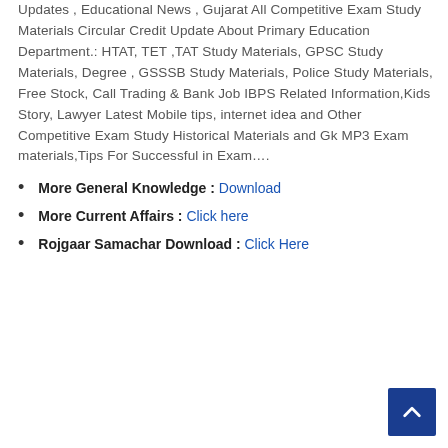Updates , Educational News , Gujarat All Competitive Exam Study Materials Circular Credit Update About Primary Education Department.: HTAT, TET ,TAT Study Materials, GPSC Study Materials, Degree , GSSSB Study Materials, Police Study Materials, Free Stock, Call Trading & Bank Job IBPS Related Information,Kids Story, Lawyer Latest Mobile tips, internet idea and Other Competitive Exam Study Historical Materials and Gk MP3 Exam materials,Tips For Successful in Exam….
More General Knowledge : Download
More Current Affairs : Click here
Rojgaar Samachar Download : Click Here